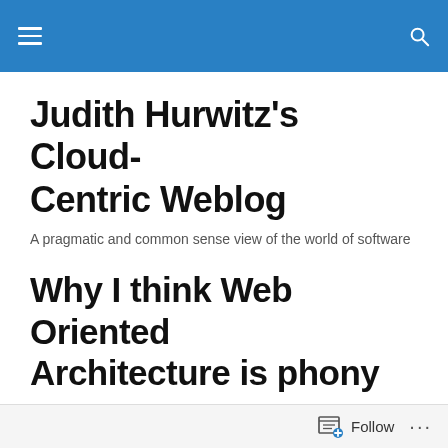Judith Hurwitz's Cloud-Centric Weblog
A pragmatic and common sense view of the world of software
Why I think Web Oriented Architecture is phony
Posted by Judith
If you are not in the software industry and not conversant in the jargon, you probably think I have lost my mind. What
Follow ...